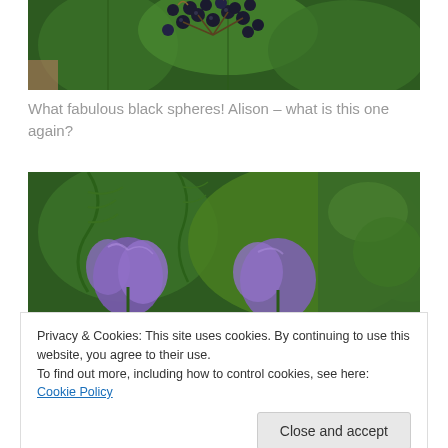[Figure (photo): Close-up photo of dark black berries/spheres clustered on a plant with broad green leaves]
What fabulous black spheres! Alison – what is this one again?
[Figure (photo): Photo of purple flowers (possibly aconite/monkshood) among green fern-like leaves]
Privacy & Cookies: This site uses cookies. By continuing to use this website, you agree to their use.
To find out more, including how to control cookies, see here: Cookie Policy
Close and accept
[Figure (photo): Bottom portion of the purple flower photo continuing below the cookie banner]